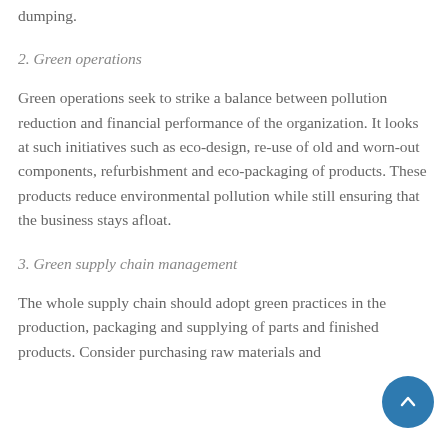dumping.
2. Green operations
Green operations seek to strike a balance between pollution reduction and financial performance of the organization. It looks at such initiatives such as eco-design, re-use of old and worn-out components, refurbishment and eco-packaging of products. These products reduce environmental pollution while still ensuring that the business stays afloat.
3. Green supply chain management
The whole supply chain should adopt green practices in the production, packaging and supplying of parts and finished products. Consider purchasing raw materials and